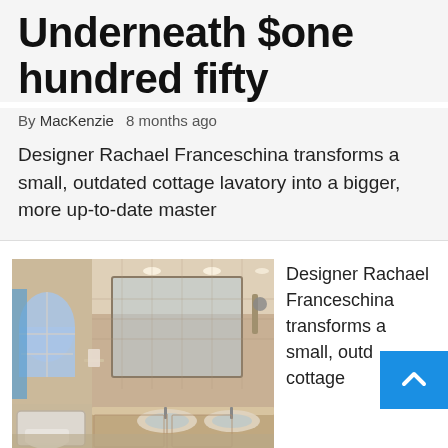Underneath $one hundred fifty
By MacKenzie   8 months ago
Designer Rachael Franceschina transforms a small, outdated cottage lavatory into a bigger, more up-to-date master
[Figure (photo): Renovated master bathroom with beige marble walls, bathtub, double sink vanity, and arched window with blue glass tiles]
Designer Rachael Franceschina transforms a small, outd cottage